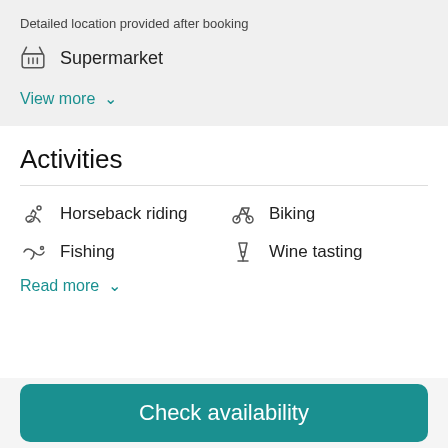Detailed location provided after booking
Supermarket
View more
Activities
Horseback riding
Biking
Fishing
Wine tasting
Read more
Check availability